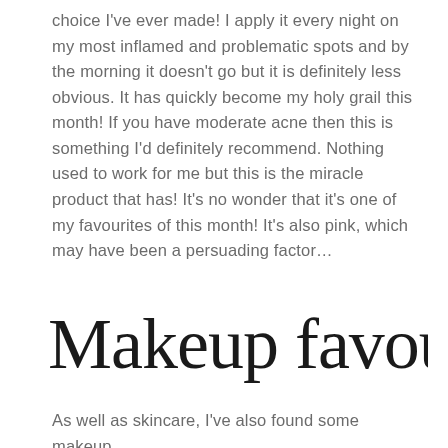choice I've ever made! I apply it every night on my most inflamed and problematic spots and by the morning it doesn't go but it is definitely less obvious. It has quickly become my holy grail this month! If you have moderate acne then this is something I'd definitely recommend. Nothing used to work for me but this is the miracle product that has! It's no wonder that it's one of my favourites of this month! It's also pink, which may have been a persuading factor…
[Figure (illustration): Handwritten script text reading 'Makeup favourites' in decorative cursive calligraphy]
As well as skincare, I've also found some makeup